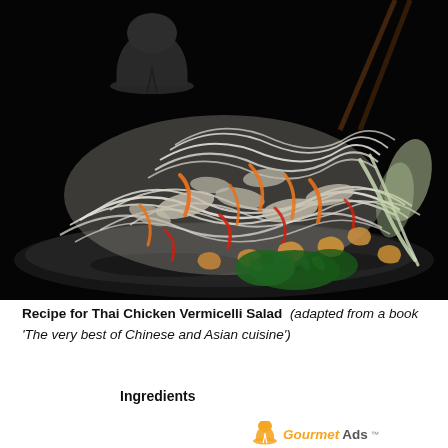[Figure (photo): A Thai Chicken Vermicelli Salad dish on a dark plate, with rice vermicelli noodles, shredded chicken, carrots, red peppers, spring onions, cashews, and fresh herbs, photographed on a black background. A chef hat watermark is visible in the top-left area.]
Recipe for Thai Chicken Vermicelli Salad  (adapted from a book 'The very best of Chinese and Asian cuisine')
Ingredients
[Figure (logo): GourmetAds logo with chef hat icon, in orange and grey italic text with trademark symbol]